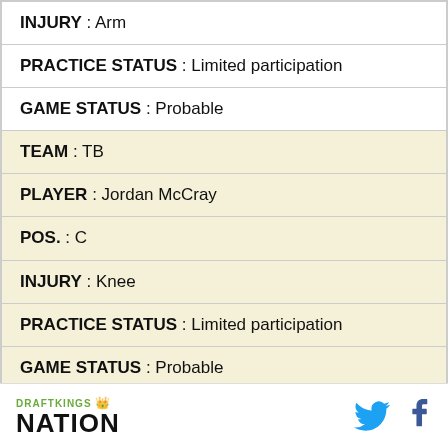INJURY : Arm
PRACTICE STATUS : Limited participation
GAME STATUS : Probable
TEAM : TB
PLAYER : Jordan McCray
POS. : C
INJURY : Knee
PRACTICE STATUS : Limited participation
GAME STATUS : Probable
TEAM : TB
DRAFTKINGS NATION